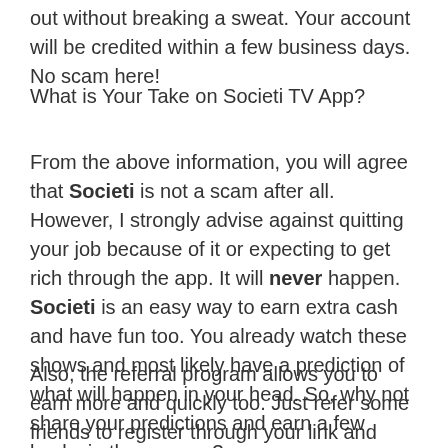out without breaking a sweat. Your account will be credited within a few business days. No scam here!
What is Your Take on Societi TV App?
From the above information, you will agree that Societi is not a scam after all. However, I strongly advise against quitting your job because of it or expecting to get rich through the app. It will never happen. Societi is an easy way to earn extra cash and have fun too. You already watch these shows and most likely have a prediction of what will happen in your head. So, why not share your predictions and earn a few bucks in the process?
Also, the referral program allows you to earn more and quickly too. Just refer some friends to register through your link and earn some quick easy cash for each one.